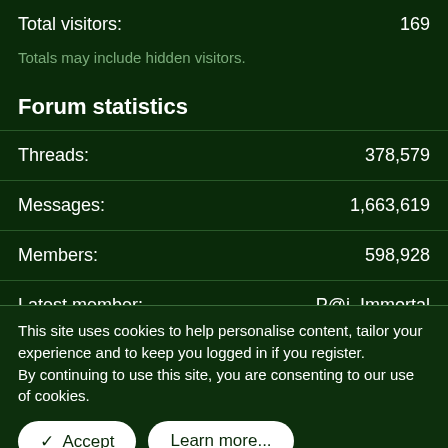Total visitors: 169
Totals may include hidden visitors.
Forum statistics
Threads: 378,579
Messages: 1,663,619
Members: 598,928
Latest member: P@i_Immortal
This site uses cookies to help personalise content, tailor your experience and to keep you logged in if you register.
By continuing to use this site, you are consenting to our use of cookies.
✓ Accept
Learn more...